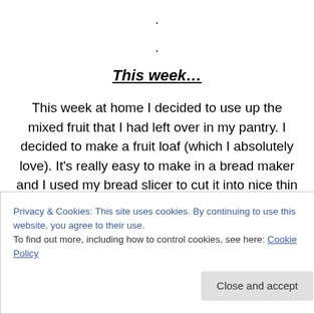.
.
This week…
This week at home I decided to use up the mixed fruit that I had left over in my pantry. I decided to make a fruit loaf (which I absolutely love). It's really easy to make in a bread maker and I used my bread slicer to cut it into nice thin slices. This loaf freezes well so you can take a couple of slices out to defrost when required:
Privacy & Cookies: This site uses cookies. By continuing to use this website, you agree to their use. To find out more, including how to control cookies, see here: Cookie Policy
Close and accept